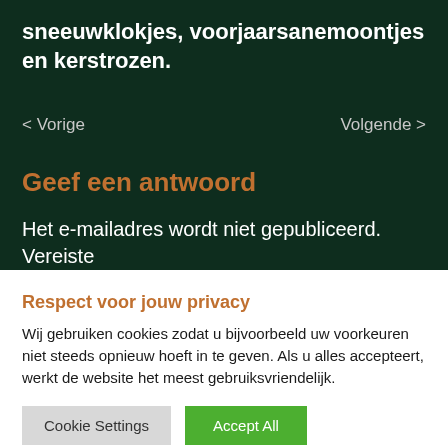sneeuwklokjes, voorjaarsanemoontjes en kerstrozen.
< Vorige    Volgende >
Geef een antwoord
Het e-mailadres wordt niet gepubliceerd. Vereiste
Respect voor jouw privacy
Wij gebruiken cookies zodat u bijvoorbeeld uw voorkeuren niet steeds opnieuw hoeft in te geven. Als u alles accepteert, werkt de website het meest gebruiksvriendelijk.
Cookie Settings   Accept All